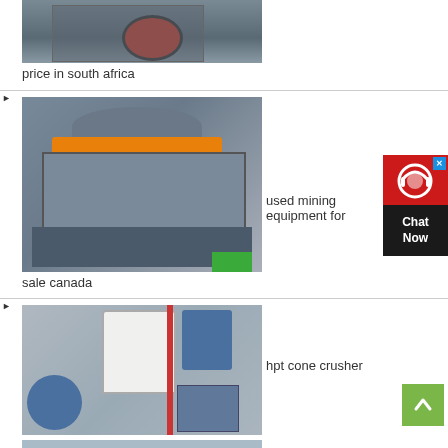[Figure (photo): Industrial crusher machine with red wheel, partial view at top of page]
price in south africa
[Figure (photo): Large VSI/cone crusher machine in factory setting, gray machine with orange ring]
used mining equipment for sale canada
[Figure (photo): Hydrocyclone HPC cone crusher machinery in industrial warehouse]
hpt cone crusher
hydrocyclone hpc cone crusher
[Figure (photo): Partial view of another cone crusher machine in warehouse, bottom of page]
[Figure (other): Live chat support button overlay with red icon and dark Chat Now label]